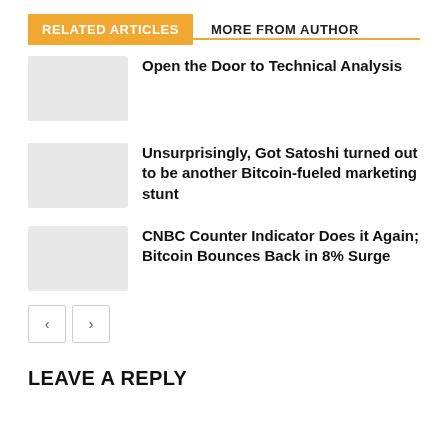RELATED ARTICLES
MORE FROM AUTHOR
Open the Door to Technical Analysis
Unsurprisingly, Got Satoshi turned out to be another Bitcoin-fueled marketing stunt
CNBC Counter Indicator Does it Again; Bitcoin Bounces Back in 8% Surge
LEAVE A REPLY